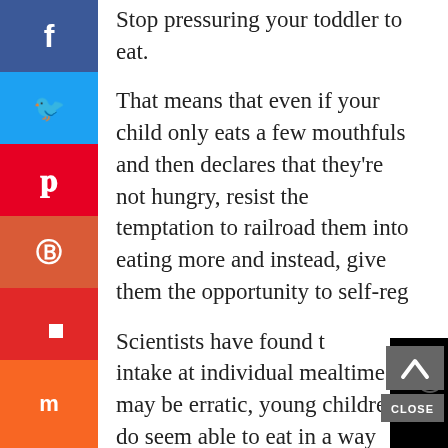Stop pressuring your toddler to eat.
That means that even if your child only eats a few mouthfuls and then declares that they're not hungry, resist the temptation to railroad them into eating more and instead, give them the opportunity to self-reg[ulate].
Scientists have found that intake at individual mealtimes may be erratic, young children do seem able to eat in a way that meets their bodies' energy requirements.